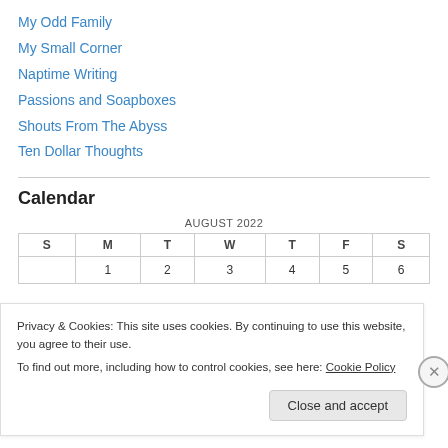My Odd Family
My Small Corner
Naptime Writing
Passions and Soapboxes
Shouts From The Abyss
Ten Dollar Thoughts
Calendar
| S | M | T | W | T | F | S |
| --- | --- | --- | --- | --- | --- | --- |
|  | 1 | 2 | 3 | 4 | 5 | 6 |
Privacy & Cookies: This site uses cookies. By continuing to use this website, you agree to their use.
To find out more, including how to control cookies, see here: Cookie Policy